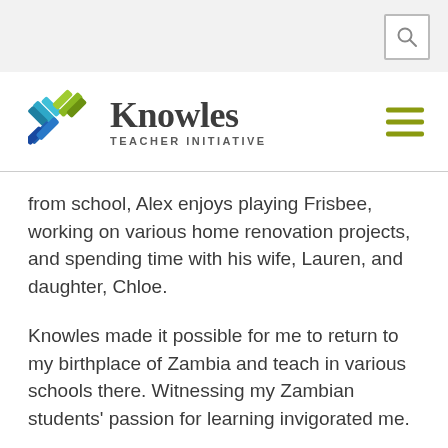[Figure (logo): Knowles Teacher Initiative logo with colorful X graphic and organization name]
from school, Alex enjoys playing Frisbee, working on various home renovation projects, and spending time with his wife, Lauren, and daughter, Chloe.
Knowles made it possible for me to return to my birthplace of Zambia and teach in various schools there. Witnessing my Zambian students’ passion for learning invigorated me.